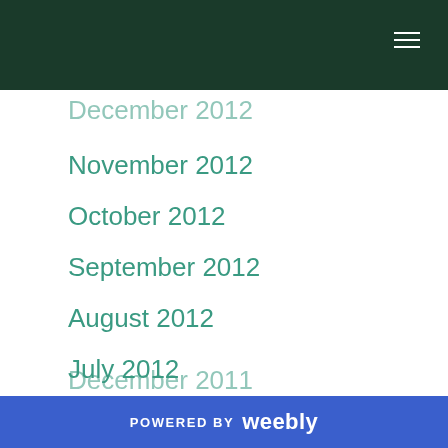December 2012 (partial, clipped at top)
November 2012
October 2012
September 2012
August 2012
July 2012
June 2012
May 2012
April 2012
March 2012
February 2012
January 2012
December 2011 (partial, clipped at bottom)
POWERED BY weebly